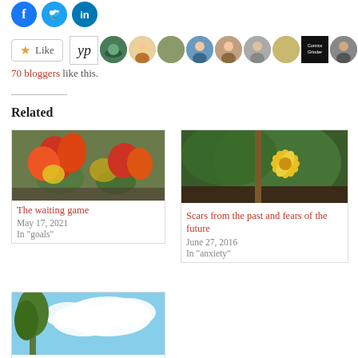[Figure (illustration): Social share icons: Facebook, Twitter, LinkedIn circles]
[Figure (illustration): Like button and row of 10 blogger avatar thumbnails]
70 bloggers like this.
Related
[Figure (photo): Red and yellow tulips/flowers garden photo]
The waiting game
May 17, 2021
In "goals"
[Figure (photo): Yellow squash flower on vine with green leaves]
Scars from the past and fears of the future
June 27, 2016
In "anxiety"
[Figure (photo): Blue sky with white clouds and green tree]